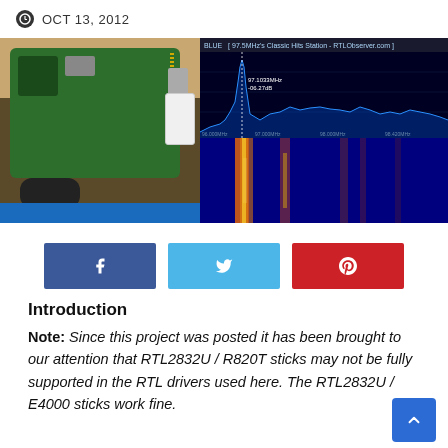OCT 13, 2012
[Figure (photo): Left: Raspberry Pi board with RTL-SDR USB dongle and blue USB cable. Right: SDR# software showing FM radio spectrum and waterfall display at 97.1033 MHz, -06.27dB]
Social sharing buttons: Facebook, Twitter, Pinterest
Introduction
Note: Since this project was posted it has been brought to our attention that RTL2832U / R820T sticks may not be fully supported in the RTL drivers used here. The RTL2832U / E4000 sticks work fine.